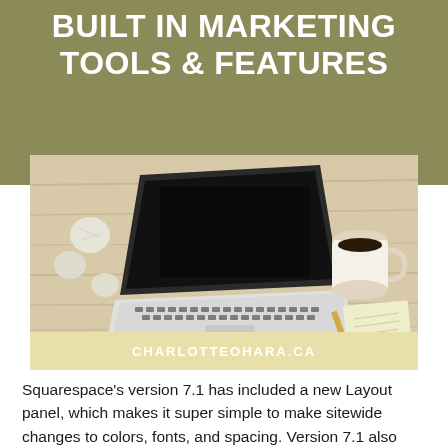BUILT IN MARKETING TOOLS & FEATURES
[Figure (photo): Overhead shot of a laptop on a wooden desk with crumpled paper, a coffee cup, pencils, and a notepad. Below the photo is a pale yellow banner with the watermark text CHARLOTTEOHARA.CA]
Squarespace's version 7.1 has included a new Layout panel, which makes it super simple to make sitewide changes to colors, fonts, and spacing. Version 7.1 also